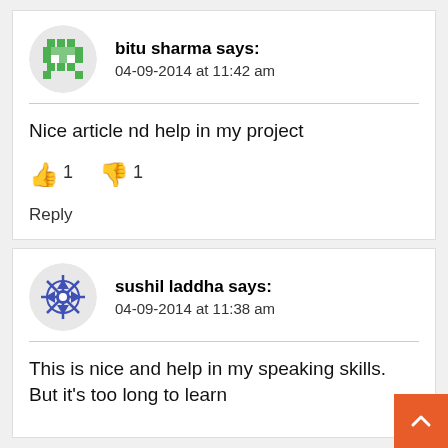bitu sharma says: 04-09-2014 at 11:42 am
Nice article nd help in my project
👍 1  👎 1
Reply
sushil laddha says: 04-09-2014 at 11:38 am
This is nice and help in my speaking skills. But it's too long to learn